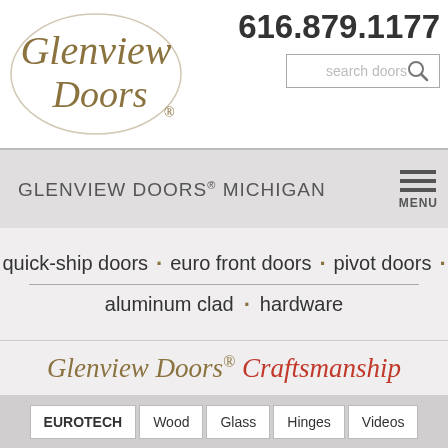[Figure (logo): Glenview Doors cursive italic logo in gold/brown color]
616.879.1177
search doors
GLENVIEW DOORS® MICHIGAN
quick-ship doors · euro front doors · pivot doors · aluminum clad · hardware
Glenview Doors® Craftsmanship
EUROTECH
Wood
Glass
Hinges
Videos
EUROTECH™ (EURO TECHNOLOGY) ENTRY DOORS CRAFTSMANSHIP